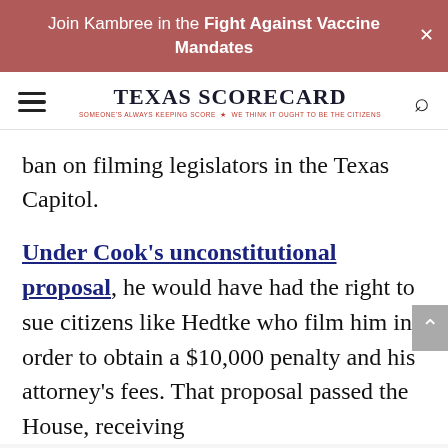Join Kambree in the Fight Against Vaccine Mandates
[Figure (logo): Texas Scorecard logo with hamburger menu and search icon. Tagline: SOMEONE'S ALWAYS KEEPING SCORE - WE THINK IT OUGHT TO BE THE CITIZENS]
ban on filming legislators in the Texas Capitol.
Under Cook's unconstitutional proposal, he would have had the right to sue citizens like Hedtke who film him in order to obtain a $10,000 penalty and his attorney's fees. That proposal passed the House, receiving